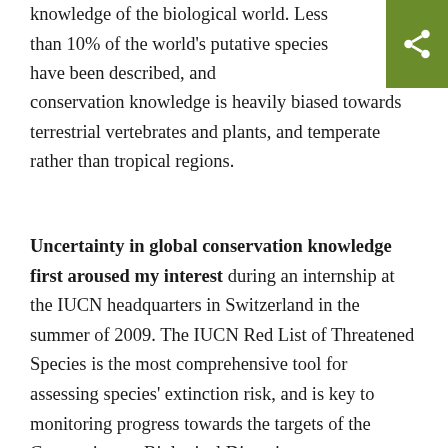knowledge of the biological world. Less than 10% of the world's putative species have been described, and conservation knowledge is heavily biased towards terrestrial vertebrates and plants, and temperate rather than tropical regions.
Uncertainty in global conservation knowledge first aroused my interest during an internship at the IUCN headquarters in Switzerland in the summer of 2009. The IUCN Red List of Threatened Species is the most comprehensive tool for assessing species' extinction risk, and is key to monitoring progress towards the targets of the Convention on Biological Diversity.